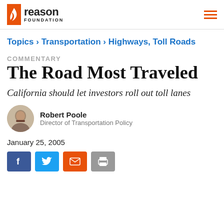Reason Foundation
Topics › Transportation › Highways, Toll Roads
COMMENTARY
The Road Most Traveled
California should let investors roll out toll lanes
Robert Poole
Director of Transportation Policy
January 25, 2005